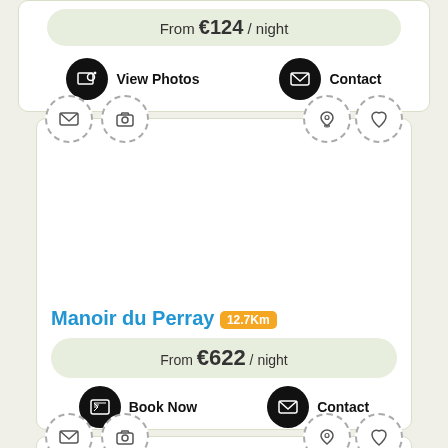From €124 / night
[Figure (screenshot): Action buttons: View Photos and Contact with black circle icons]
[Figure (screenshot): Property listing card for Manoir du Perray showing dashed icon circles for mail, camera, location pin, heart at top; blank photo area; property name, distance badge, price, and Book Now/Contact buttons]
Manoir du Perray 12.7Km
From €622 / night
[Figure (screenshot): Partial property listing card at bottom showing dashed icon circles for mail, camera, location pin, heart]